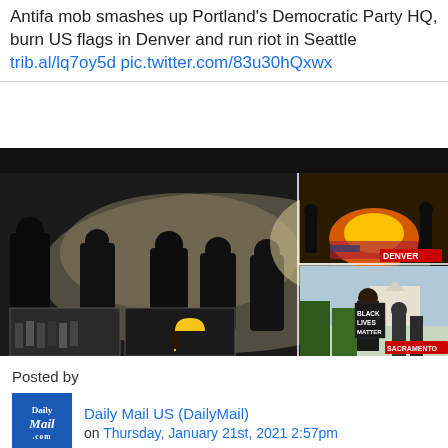Antifa mob smashes up Portland's Democratic Party HQ, burn US flags in Denver and run riot in Seattle trib.al/lq7oy5d pic.twitter.com/83u30hQxwx
[Figure (photo): Composite news image showing riot scenes in Portland, Denver, and Sacramento with headline 'SO MUCH FOR UNITY']
Posted by
[Figure (logo): Daily Mail .com logo in blue square]
Daily Mail US (DailyMail)
on Thursday, January 21st, 2021 2:57pm